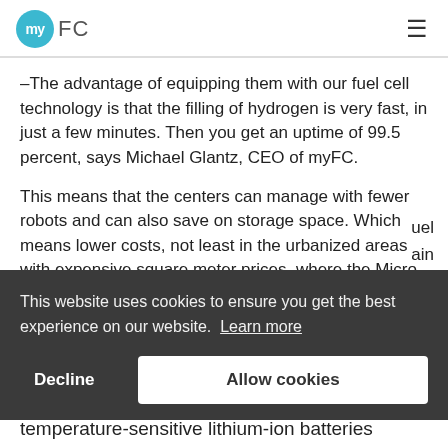myFC
–The advantage of equipping them with our fuel cell technology is that the filling of hydrogen is very fast, in just a few minutes. Then you get an uptime of 99.5 percent, says Michael Glantz, CEO of myFC.
This means that the centers can manage with fewer robots and can also save on storage space. Which means lower costs, not least in the urbanized areas with expensive square meter prices, where the Micro Fulfillment Center often ends up
This website uses cookies to ensure you get the best experience on our website. Learn more
Decline
Allow cookies
temperature-sensitive lithium-ion batteries